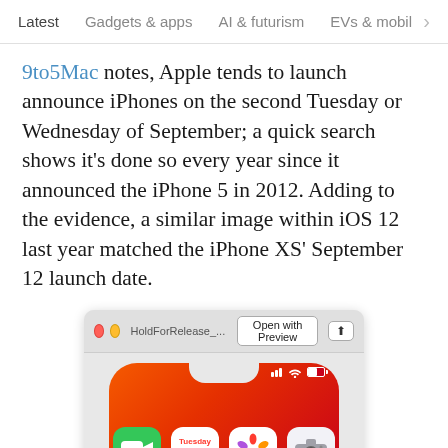Latest   Gadgets & apps   AI & futurism   EVs & mobil  >
9to5Mac notes, Apple tends to launch announce iPhones on the second Tuesday or Wednesday of September; a quick search shows it's done so every year since it announced the iPhone 5 in 2012. Adding to the evidence, a similar image within iOS 12 last year matched the iPhone XS' September 12 launch date.
[Figure (screenshot): A macOS Preview window titled 'HoldForRelease_...' with an 'Open with Preview' button and share icon. Below the title bar is a partial iPhone screen showing a red/orange gradient background with a notch, status bar icons (signal bars, wifi, battery), and four app icons: FaceTime (green), Calendar showing 'Tuesday 10', Photos (colorful), and Camera (gray).]